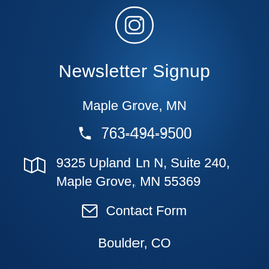[Figure (illustration): Instagram icon circle with camera symbol, white outline on dark blue background]
Newsletter Signup
Maple Grove, MN
📞 763-494-9500
🗺 9325 Upland Ln N, Suite 240, Maple Grove, MN 55369
✉ Contact Form
Boulder, CO